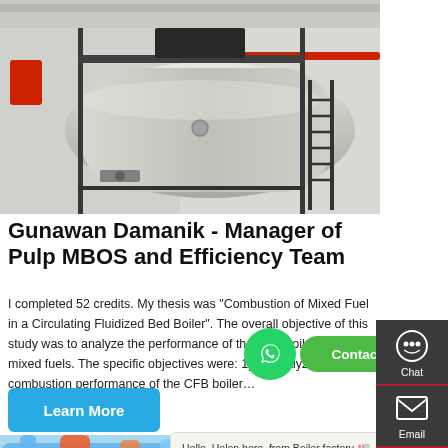[Figure (photo): Industrial boiler tank with metal scaffolding and red pipes in a factory/warehouse setting]
Gunawan Damanik - Manager of Pulp MBOS and Efficiency Team
I completed 52 credits. My thesis was "Combustion of Mixed Fuel in a Circulating Fluidized Bed Boiler". The overall objective of this study was to analyze the performance of the CFB boiler using mixed fuels. The specific objectives were: 1) To analyze the combustion performance of the CFB boiler...
[Figure (screenshot): WhatsApp contact button with 'Contact us now!' green button overlay]
[Figure (photo): Colorful industrial pipes (blue, orange, red) viewed from below]
Hello, Helen here, from Boiler factory 🏭